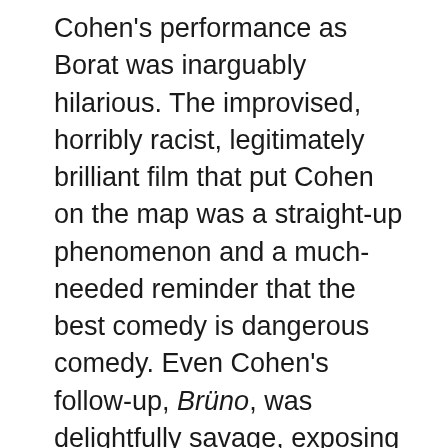Cohen's performance as Borat was inarguably hilarious. The improvised, horribly racist, legitimately brilliant film that put Cohen on the map was a straight-up phenomenon and a much-needed reminder that the best comedy is dangerous comedy. Even Cohen's follow-up, Brüno, was delightfully savage, exposing homophobia with a slightly lower laugh production than his freshman work. Sadly, The Dictator is total milquetoast weak sauce.
The third wacky-character-based go-round for Cohen and director Larry Charles is easily their worst and is stunningly tepid. The idea was at least semi-ballsy: wicked oppressor of the fictional north African nation of Wadiya,